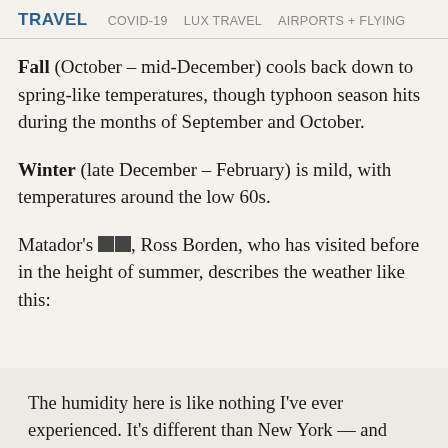TRAVEL   COVID-19   LUX TRAVEL   AIRPORTS + FLYING
Fall (October – mid-December) cools back down to spring-like temperatures, though typhoon season hits during the months of September and October.
Winter (late December – February) is mild, with temperatures around the low 60s.
Matador's [icon][icon], Ross Borden, who has visited before in the height of summer, describes the weather like this:
The humidity here is like nothing I've ever experienced. It's different than New York — and even from Hawaii or the coastal regions of Kenya